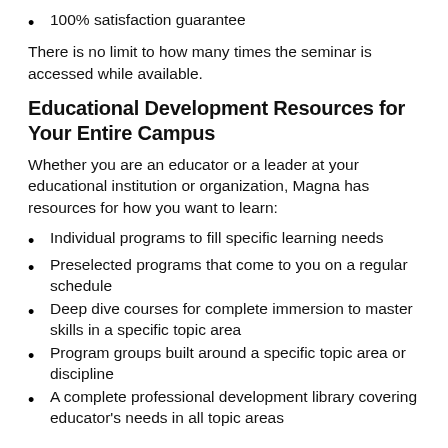100% satisfaction guarantee
There is no limit to how many times the seminar is accessed while available.
Educational Development Resources for Your Entire Campus
Whether you are an educator or a leader at your educational institution or organization, Magna has resources for how you want to learn:
Individual programs to fill specific learning needs
Preselected programs that come to you on a regular schedule
Deep dive courses for complete immersion to master skills in a specific topic area
Program groups built around a specific topic area or discipline
A complete professional development library covering educator's needs in all topic areas